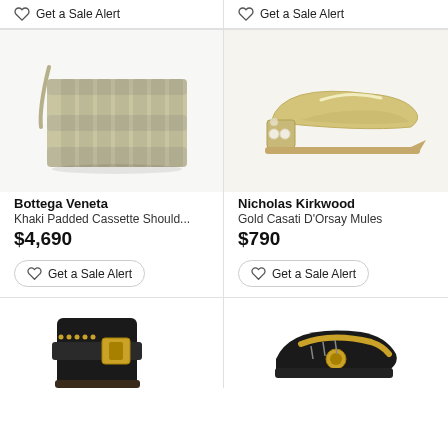Get a Sale Alert
Get a Sale Alert
[Figure (photo): Bottega Veneta Khaki Padded Cassette Shoulder bag, woven leather intrecciato design in olive/khaki color]
[Figure (photo): Nicholas Kirkwood Gold Casati D'Orsay Mules, gold satin pointed-toe flats with pearl embellishments on heel]
Bottega Veneta
Khaki Padded Cassette Should...
$4,690
Nicholas Kirkwood
Gold Casati D'Orsay Mules
$790
Get a Sale Alert
Get a Sale Alert
[Figure (photo): Black ankle boot with gold studded embellishments and large gold buckle, partially visible at bottom of page]
[Figure (photo): Gold and black sneaker/shoe, partially visible at bottom of page]